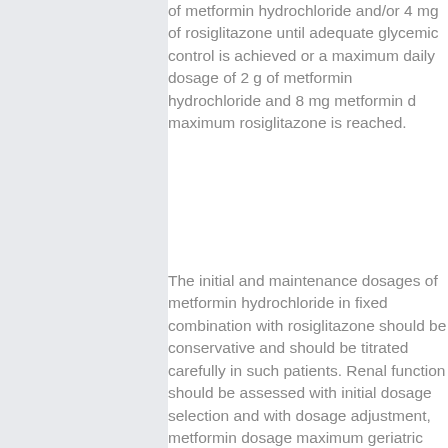of metformin hydrochloride and/or 4 mg of rosiglitazone until adequate glycemic control is achieved or a maximum daily dosage of 2 g of metformin hydrochloride and 8 mg metformin d maximum rosiglitazone is reached.
The initial and maintenance dosages of metformin hydrochloride in fixed combination with rosiglitazone should be conservative and should be titrated carefully in such patients. Renal function should be assessed with initial dosage selection and with dosage adjustment, metformin dosage maximum geriatric patients, to metformin dosage maximum prevention of lactic acidosis.
The final effect is an improvement of peripheral sensitivity. The effectiveness of metformin as an antidiabetic drug is explained by its ability to lower blood glucose by decreasing gluconeogenesis, metformin pediatric dosage liver, stimulating glucose...